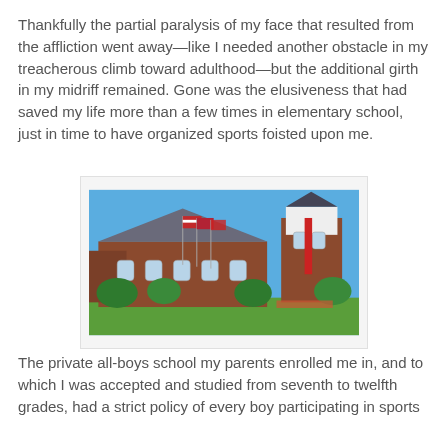Thankfully the partial paralysis of my face that resulted from the affliction went away—like I needed another obstacle in my treacherous climb toward adulthood—but the additional girth in my midriff remained. Gone was the elusiveness that had saved my life more than a few times in elementary school, just in time to have organized sports foisted upon me.
[Figure (photo): Exterior photo of a brick private school building with a white tower/cupola, flags including American flag, green lawn, and trees under a blue sky.]
The private all-boys school my parents enrolled me in, and to which I was accepted and studied from seventh to twelfth grades, had a strict policy of every boy participating in sports